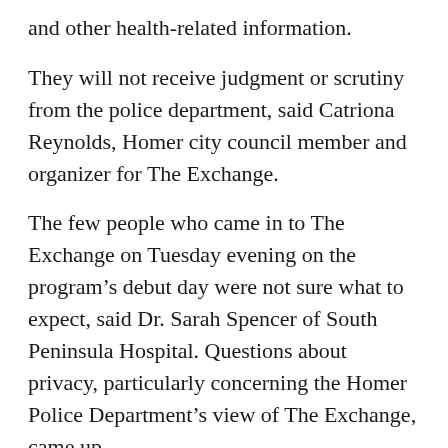and other health-related information.
They will not receive judgment or scrutiny from the police department, said Catriona Reynolds, Homer city council member and organizer for The Exchange.
The few people who came in to The Exchange on Tuesday evening on the program’s debut day were not sure what to expect, said Dr. Sarah Spencer of South Peninsula Hospital. Questions about privacy, particularly concerning the Homer Police Department’s view of The Exchange, came up.
“There was some concern if the police were going to be watching. We’ve involved the Homer Police Department in this whole development plan,” Spencer said. “They’re supportive of us having this plan and as long as we aren’t have problems with